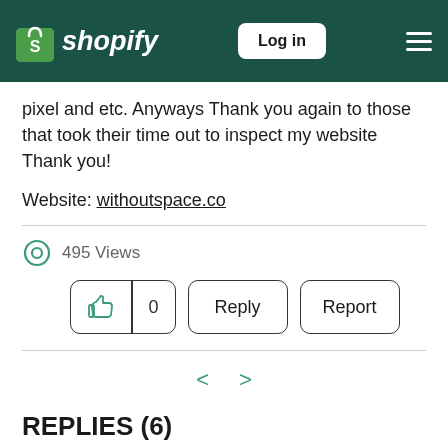Shopify — Log in
pixel and etc. Anyways Thank you again to those that took their time out to inspect my website Thank you!
Website: withoutspace.co
495 Views
0 | Reply | Report
REPLIES (6)